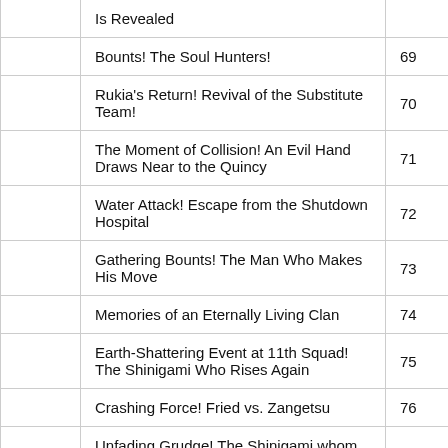|  | Title | Episode |
| --- | --- | --- |
|  | Is Revealed |  |
|  | Bounts! The Soul Hunters! | 69 |
|  | Rukia's Return! Revival of the Substitute Team! | 70 |
|  | The Moment of Collision! An Evil Hand Draws Near to the Quincy | 71 |
|  | Water Attack! Escape from the Shutdown Hospital | 72 |
|  | Gathering Bounts! The Man Who Makes His Move | 73 |
|  | Memories of an Eternally Living Clan | 74 |
|  | Earth-Shattering Event at 11th Squad! The Shinigami Who Rises Again | 75 |
|  | Crashing Force! Fried vs. Zangetsu | 76 |
|  | Unfading Grudge! The Shinigami whom |  |